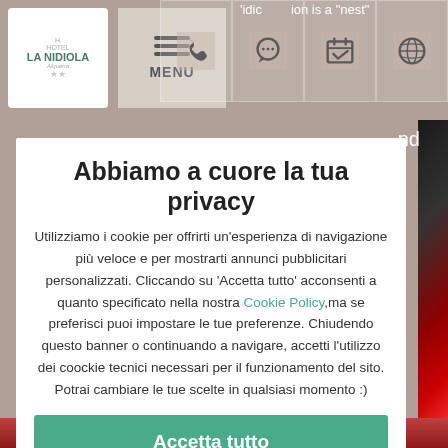[Figure (screenshot): Hotel La Nidiola website screenshot showing navigation bar with logo, hamburger menu, and icon buttons for phone, WhatsApp, calendar, and globe]
Abbiamo a cuore la tua privacy
Utilizziamo i cookie per offrirti un'esperienza di navigazione più veloce e per mostrarti annunci pubblicitari personalizzati. Cliccando su 'Accetta tutto' acconsenti a quanto specificato nella nostra Cookie Policy,ma se preferisci puoi impostare le tue preferenze. Chiudendo questo banner o continuando a navigare, accetti l'utilizzo dei coockie tecnici necessari per il funzionamento del sito. Potrai cambiare le tue scelte in qualsiasi momento :)
Accetta tutto
Gestione preferenze